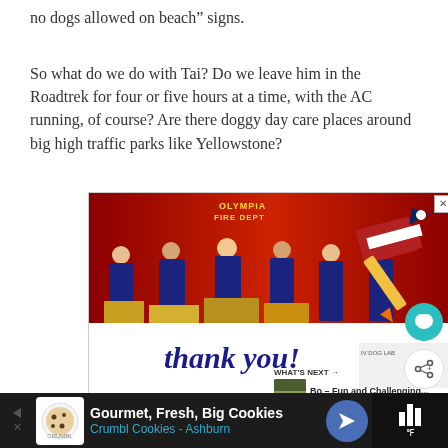no dogs allowed on beach” signs.
So what do we do with Tai? Do we leave him in the Roadtrek for four or five hours at a time, with the AC running, of course? Are there doggy day care places around big high traffic parks like Yellowstone?
[Figure (photo): Advertisement showing firefighters from Olympia Fire Department standing in front of a fire truck, with a 'Thank you!' handwritten script overlay and a pencil/flag graphic. Below the main ad is a small 'WHAT'S NEXT' section with a thumbnail and 'Bo - Fun and Challenging...' text.]
[Figure (infographic): Bottom banner advertisement for Crumbl Cookies - Ashburn with text 'Gourmet, Fresh, Big Cookies' and a blue directional sign icon. Right side shows a dark box with bar chart icon.]